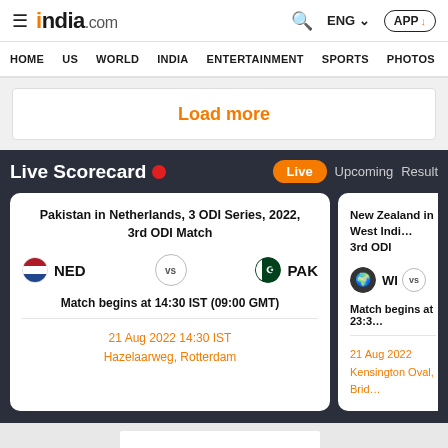india.com — HOME | US | WORLD | INDIA | ENTERTAINMENT | SPORTS | PHOTOS
Load more
Live Scorecard
Live  Upcoming  Result
Pakistan in Netherlands, 3 ODI Series, 2022, 3rd ODI Match
NED vs PAK
Match begins at 14:30 IST (09:00 GMT)
21 Aug 2022 14:30 IST
Hazelaarweg, Rotterdam
New Zealand in West Indies, 3rd ODI
WI vs
Match begins at 23:3
21 Aug 2022
Kensington Oval, Brid